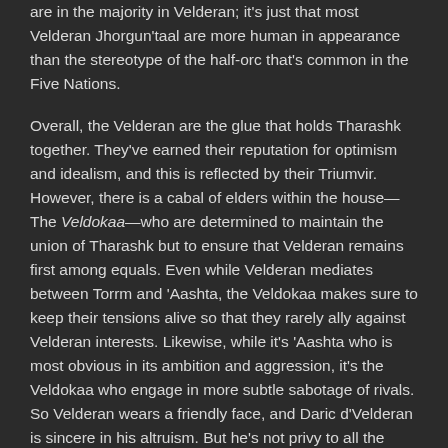are in the majority in Velderan; it's just that most Velderan Jhorgun'taal are more human in appearance than the stereotype of the half-orc that's common in the Five Nations.
Overall, the Velderan are the glue that holds Tharashk together. They've earned their reputation for optimism and idealism, and this is reflected by their Triumvir. However, there is a cabal of elders within the house—The Veldokaa—who are determined to maintain the union of Tharashk but to ensure that Velderan remains first among equals. Even while Velderan mediates between Torrm and 'Aashta, the Veldokaa makes sure to keep their tensions alive so that they rarely ally against Velderan interests. Likewise, while it's 'Aashta who is most obvious in its ambition and aggression, it's the Veldokaa who engage in more subtle sabotage of rivals. So Velderan wears a friendly face, and Daric d'Velderan is sincere in his altruism. But he's not privy to all the plans of the Veldokaa, and there are other clan leaders—such as Khalar Velderan, who oversees Tharashk operations in Q'barra—who put ambition ahead of altruism.